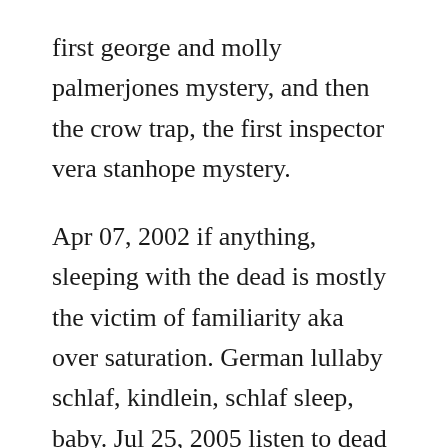first george and molly palmerjones mystery, and then the crow trap, the first inspector vera stanhope mystery.
Apr 07, 2002 if anything, sleeping with the dead is mostly the victim of familiarity aka over saturation. German lullaby schlaf, kindlein, schlaf sleep, baby. Jul 25, 2005 listen to dead sleep audiobook by greg iles. Learn german while you sleep the official sleep learning. Hugeboobed nubile cheats on sleeping beau with his handsome daddy 2 days ago 08. Raccoon shot dead in germany